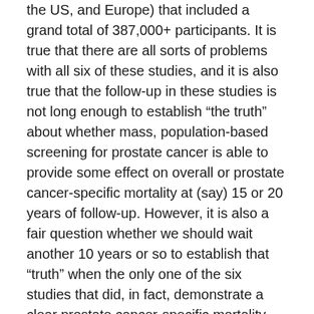the US, and Europe) that included a grand total of 387,000+ participants. It is true that there are all sorts of problems with all six of these studies, and it is also true that the follow-up in these studies is not long enough to establish “the truth” about whether mass, population-based screening for prostate cancer is able to provide some effect on overall or prostate cancer-specific mortality at (say) 15 or 20 years of follow-up. However, it is also a fair question whether we should wait another 10 years or so to establish that “truth” when the only one of the six studies that did, in fact, demonstrate a clear prostate cancer-specific mortality benefit (the Göteborg study) did not demonstrate an overall mortality benefit and was conducted in a previously untested population.
We are not going to go into a detailed discussion of this meta-analysis. The data are available for everyone to